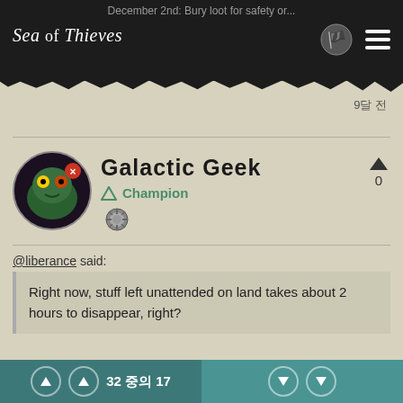December 2nd: Bury loot for safety or...
[Figure (logo): Sea of Thieves logo with pirate hat icon and hamburger menu]
9달 전
Galactic Geek
Champion
0
@liberance said:
Right now, stuff left unattended on land takes about 2 hours to disappear, right?
I have kept things hidden on islands for hours, and never
32 중의 17